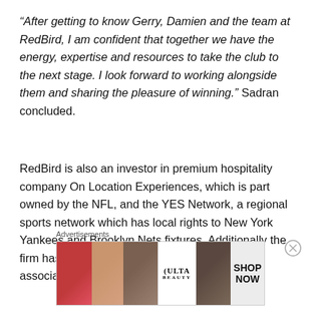“After getting to know Gerry, Damien and the team at RedBird, I am confident that together we have the energy, expertise and resources to take the club to the next stage. I look forward to working alongside them and sharing the pleasure of winning.” Sadran concluded.
RedBird is also an investor in premium hospitality company On Location Experiences, which is part owned by the NFL, and the YES Network, a regional sports network which has local rights to New York Yankees and Brooklyn Nets fixtures. Additionally the firm has teamed up with NFL and MLB player’s associations to
Advertisements
[Figure (other): Ulta Beauty advertisement banner showing makeup/beauty images and SHOP NOW call to action]